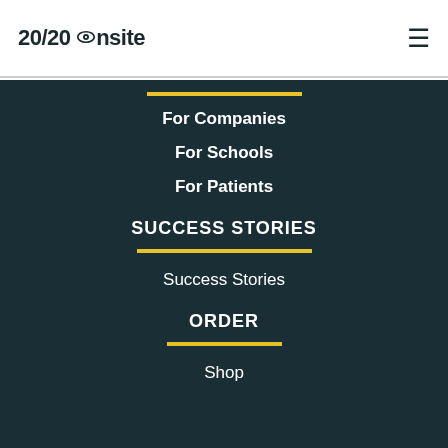20/20 onsite
For Companies
For Schools
For Patients
SUCCESS STORIES
Success Stories
ORDER
Shop